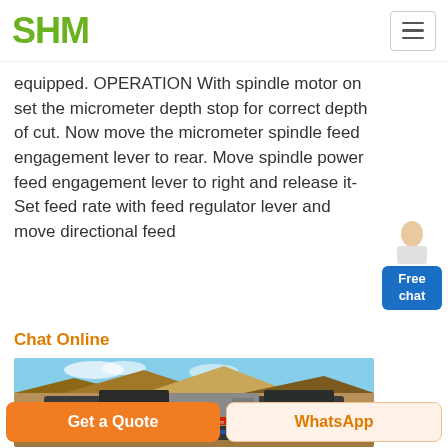SHM
equipped. OPERATION With spindle motor on set the micrometer depth stop for correct depth of cut. Now move the micrometer spindle feed engagement lever to rear. Move spindle power feed engagement lever to right and release it- Set feed rate with feed regulator lever and move directional feed
Chat Online
[Figure (photo): Industrial mobile crushing/processing machine photographed outdoors with piles of aggregate/gravel material and mountains in the background under a blue sky.]
Get a Quote | WhatsApp